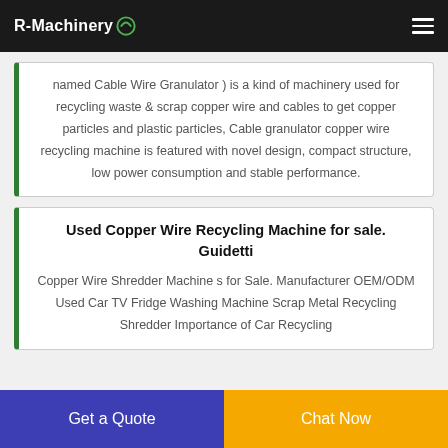R-Machinery
named Cable Wire Granulator ) is a kind of machinery used for recycling waste & scrap copper wire and cables to get copper particles and plastic particles, Cable granulator copper wire recycling machine is featured with novel design, compact structure, low power consumption and stable performance.
Used Copper Wire Recycling Machine for sale. Guidetti
Copper Wire Shredder Machine s for Sale. Manufacturer OEM/ODM Used Car TV Fridge Washing Machine Scrap Metal Recycling Shredder Importance of Car Recycling
Get a Quote
Chat Now